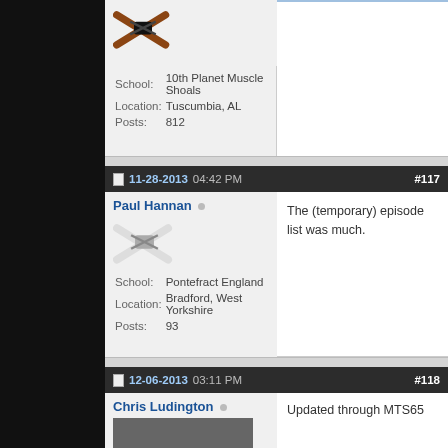School: 10th Planet Muscle Shoals
Location: Tuscumbia, AL
Posts: 812
11-28-2013 04:42 PM  #117
Paul Hannan
School: Pontefract England
Location: Bradford, West Yorkshire
Posts: 93
The (temporary) episode list was much.
12-06-2013 03:11 PM  #118
Chris Ludington
Updated through MTS65